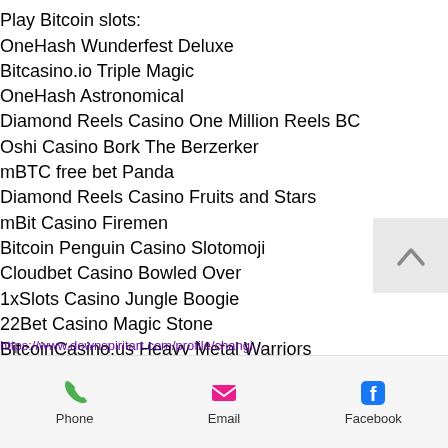Play Bitcoin slots:
OneHash Wunderfest Deluxe
Bitcasino.io Triple Magic
OneHash Astronomical
Diamond Reels Casino One Million Reels BC
Oshi Casino Bork The Berzerker
mBTC free bet Panda
Diamond Reels Casino Fruits and Stars
mBit Casino Firemen
Bitcoin Penguin Casino Slotomoji
Cloudbet Casino Bowled Over
1xSlots Casino Jungle Boogie
22Bet Casino Magic Stone
BitcoinCasino.us Heavy Metal Warriors
Cloudbet Casino Winter Wonderland
mBit Casino 7 Days Spanish Armada
https://www.downspiritart.com/profile/changi... | Phone | Email | Facebook